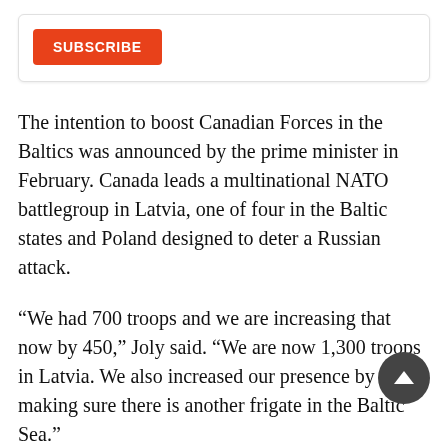[Figure (other): Orange SUBSCRIBE button inside a white rounded card with light border shadow]
The intention to boost Canadian Forces in the Baltics was announced by the prime minister in February. Canada leads a multinational NATO battlegroup in Latvia, one of four in the Baltic states and Poland designed to deter a Russian attack.
“We had 700 troops and we are increasing that now by 450,” Joly said. “We are now 1,300 troops in Latvia. We also increased our presence by making sure there is another frigate in the Baltic Sea.”
Joly said Canada is also preparing “to put 3,400 soldiers on